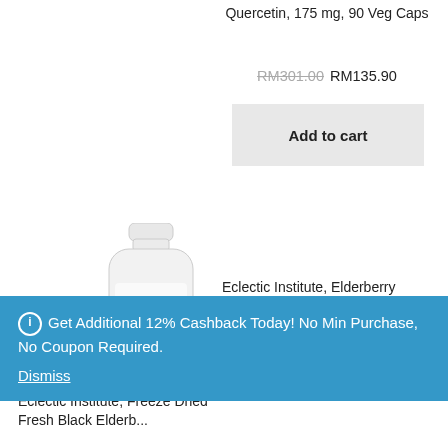Quercetin, 175 mg, 90 Veg Caps
RM301.00  RM135.90
Add to cart
[Figure (photo): White supplement bottle illustration]
Eclectic Institute, Elderberry Glycerite, 2 fl oz
Get Additional 12% Cashback Today! No Min Purchase, No Coupon Required.
Dismiss
Eclectic Institute, Freeze Dried Fresh Black Elderb...